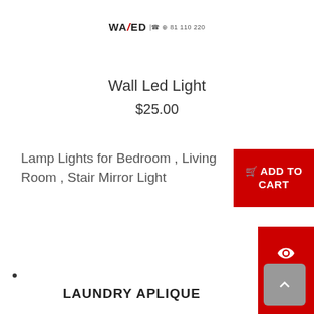WAFED | 81 110 220
Wall Led Light
$25.00
Lamp Lights for Bedroom , Living Room , Stair Mirror Light
ADD TO CART
LAUNDRY APLIQUE